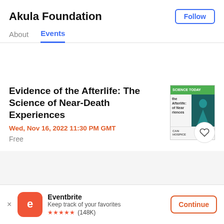Akula Foundation
Follow
About	Events
Evidence of the Afterlife: The Science of Near-Death Experiences
Wed, Nov 16, 2022 11:30 PM GMT
Free
[Figure (illustration): Book cover thumbnail for 'Evidence of the Afterlife: The Science of Near-Death Experiences' with green header, text on left panel, and teal/dark human silhouette image on right panel, with 'CAN HOSPICE' logo at bottom.]
Eventbrite
Keep track of your favorites
★★★★★ (148K)
Continue